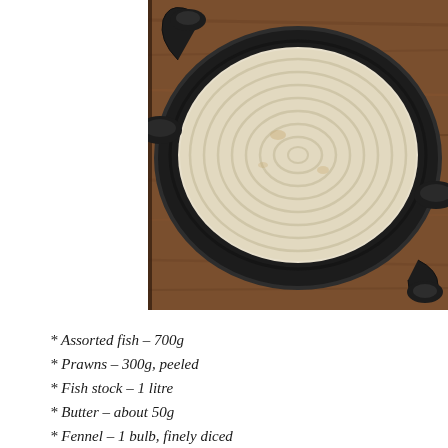[Figure (photo): Overhead view of a black cast-iron oval dish with ridged/piped cream or mashed topping, placed on a wooden surface]
* Assorted fish – 700g
* Prawns – 300g, peeled
* Fish stock – 1 litre
* Butter – about 50g
* Fennel – 1 bulb, finely diced